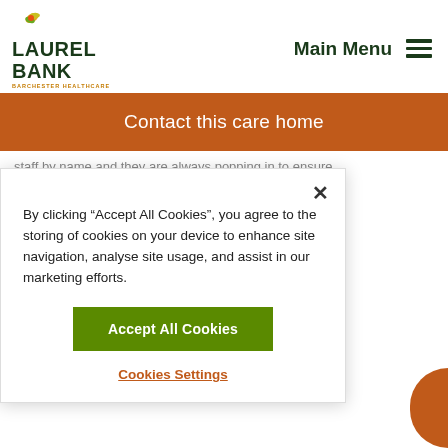LAUREL BANK | BARCHESTER HEALTHCARE | Main Menu
Contact this care home
staff by name and they are always popping in to ensure
By clicking “Accept All Cookies”, you agree to the storing of cookies on your device to enhance site navigation, analyse site usage, and assist in our marketing efforts.
Accept All Cookies
Cookies Settings